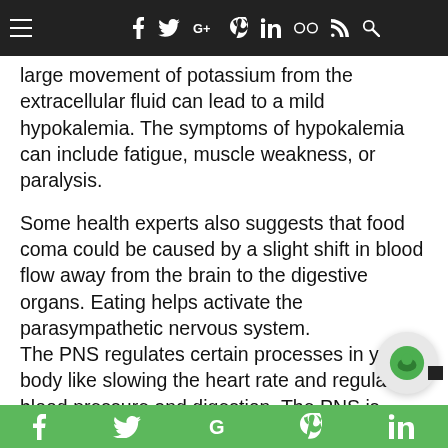Navigation bar with hamburger menu and social icons: f, Twitter, G+, Pinterest, in, Flickr, RSS, Search
large movement of potassium from the extracellular fluid can lead to a mild hypokalemia. The symptoms of hypokalemia can include fatigue, muscle weakness, or paralysis.
Some health experts also suggests that food coma could be caused by a slight shift in blood flow away from the brain to the digestive organs. Eating helps activate the parasympathetic nervous system. The PNS regulates certain processes in your body like slowing the heart rate and regulating blood pressure and digestion. The PNS is triggered when the stomach expands from accommodating a large meal. As a result of this, blood flow is directed to the working digestive organs and less to the brain. This slight diversion may cause you to feel drowsy and fatigued.
Social share bar: Facebook, Twitter, Google, Pinterest, LinkedIn